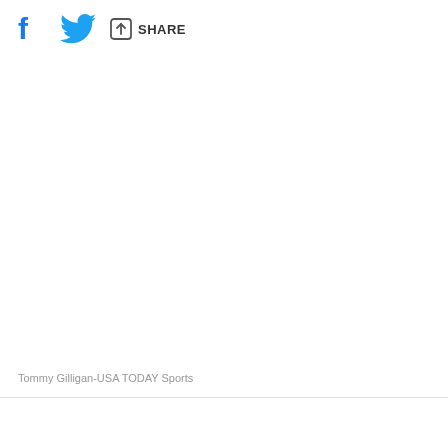[Figure (other): Social media share toolbar with Facebook icon, Twitter bird icon, and share arrow icon with SHARE text]
Tommy Gilligan-USA TODAY Sports